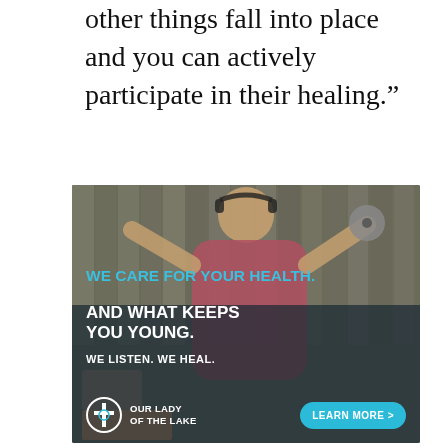other things fall into place and you can actively participate in their healing.”
[Figure (photo): Advertisement for Our Lady of the Lake health system featuring a woman with headphones holding a vinyl record, with text overlays: 'WE CARE FOR YOUR HEALTH. AND WHAT KEEPS YOU YOUNG. WE LISTEN. WE HEAL.' with logo and 'LEARN MORE >' button.]